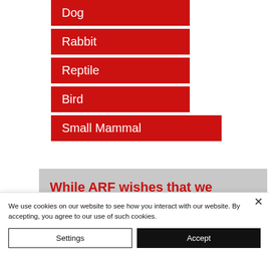Dog
Rabbit
Reptile
Bird
Small Mammal
While ARF wishes that we
We use cookies on our website to see how you interact with our website. By accepting, you agree to our use of such cookies.
Settings
Accept